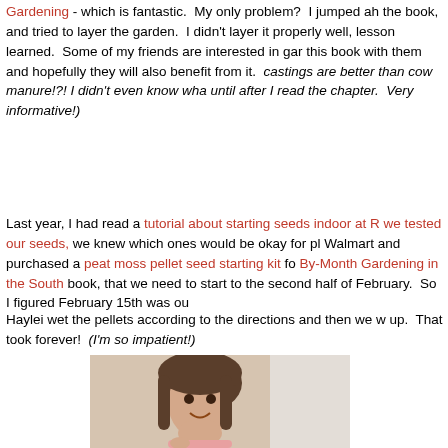Gardening - which is fantastic.  My only problem?  I jumped ah the book, and tried to layer the garden.  I didn't layer it properly well, lesson learned.  Some of my friends are interested in gar this book with them and hopefully they will also benefit from it.  castings are better than cow manure!?! I didn't even know wha until after I read the chapter.  Very informative!)
Last year, I had read a tutorial about starting seeds indoor at R we tested our seeds, we knew which ones would be okay for pl Walmart and purchased a peat moss pellet seed starting kit fo By-Month Gardening in the South book, that we need to start to the second half of February.  So I figured February 15th was ou
Haylei wet the pellets according to the directions and then we w up.  That took forever!  (I'm so impatient!)
[Figure (photo): A young girl with brown hair smiling at the camera, photographed indoors near a window]